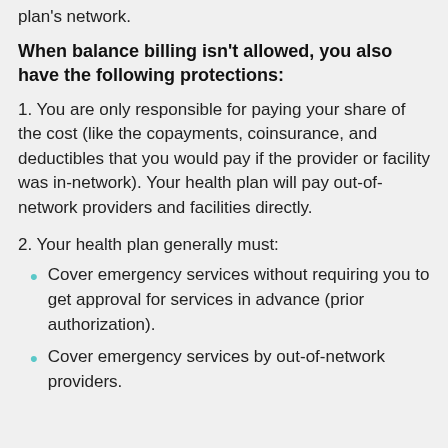plan's network.
When balance billing isn't allowed, you also have the following protections:
1. You are only responsible for paying your share of the cost (like the copayments, coinsurance, and deductibles that you would pay if the provider or facility was in-network). Your health plan will pay out-of-network providers and facilities directly.
2. Your health plan generally must:
Cover emergency services without requiring you to get approval for services in advance (prior authorization).
Cover emergency services by out-of-network providers.